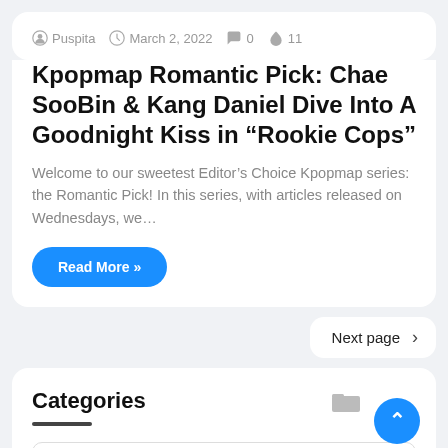Puspita  March 2, 2022  0  11
Kpopmap Romantic Pick: Chae SooBin & Kang Daniel Dive Into A Goodnight Kiss in “Rookie Cops”
Welcome to our sweetest Editor’s Choice Kpopmap series: the Romantic Pick! In this series, with articles released on Wednesdays, we…
Read More »
Next page
Categories
Drama Riview  (79)